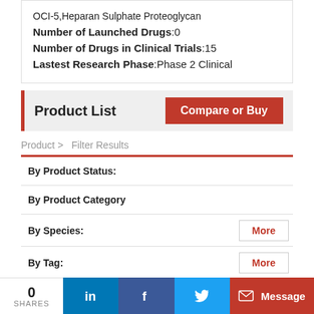OCI-5,Heparan Sulphate Proteoglycan
Number of Launched Drugs:0
Number of Drugs in Clinical Trials:15
Lastest Research Phase:Phase 2 Clinical
Product List
Compare or Buy
Product > Filter Results
| Filter | Action |
| --- | --- |
| By Product Status: |  |
| By Product Category |  |
| By Species: | More |
| By Tag: | More |
| By S... |  |
0 SHARES  in  f  [twitter]  Message